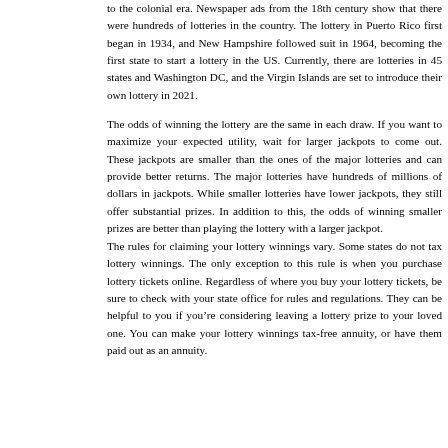to the colonial era. Newspaper ads from the 18th century show that there were hundreds of lotteries in the country. The lottery in Puerto Rico first began in 1934, and New Hampshire followed suit in 1964, becoming the first state to start a lottery in the US. Currently, there are lotteries in 45 states and Washington DC, and the Virgin Islands are set to introduce their own lottery in 2021.
The odds of winning the lottery are the same in each draw. If you want to maximize your expected utility, wait for larger jackpots to come out. These jackpots are smaller than the ones of the major lotteries and can provide better returns. The major lotteries have hundreds of millions of dollars in jackpots. While smaller lotteries have lower jackpots, they still offer substantial prizes. In addition to this, the odds of winning smaller prizes are better than playing the lottery with a larger jackpot.
The rules for claiming your lottery winnings vary. Some states do not tax lottery winnings. The only exception to this rule is when you purchase lottery tickets online. Regardless of where you buy your lottery tickets, be sure to check with your state office for rules and regulations. They can be helpful to you if you're considering leaving a lottery prize to your loved one. You can make your lottery winnings tax-free annuity, or have them paid out as an annuity.
Unlike the official lottery operators, some betting companies let players place bets on specific numbers. These are known as number betting and differ from the official lottery operators. In many cases, you can even place a bet on just one number and win a huge prize. If you don't have the money to buy all of the tickets in the lottery, you can play a daily lottery. Most states have these, and they are compatible with online lotteries as well.
Another difference between a membership lottery and a traditional lottery is how the winnings are shared. Membership lotteries are run by corporations...